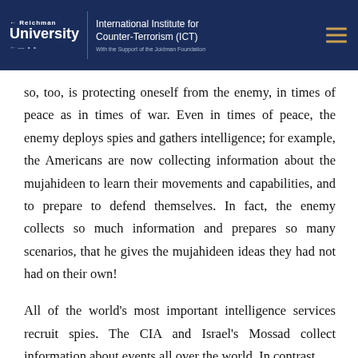Reichman University | International Institute for Counter-Terrorism (ICT) | With the Support of the Joidman Foundation
so, too, is protecting oneself from the enemy, in times of peace as in times of war. Even in times of peace, the enemy deploys spies and gathers intelligence; for example, the Americans are now collecting information about the mujahideen to learn their movements and capabilities, and to prepare to defend themselves. In fact, the enemy collects so much information and prepares so many scenarios, that he gives the mujahideen ideas they had not had on their own!
All of the world's most important intelligence services recruit spies. The CIA and Israel's Mossad collect information about events all over the world. In contrast